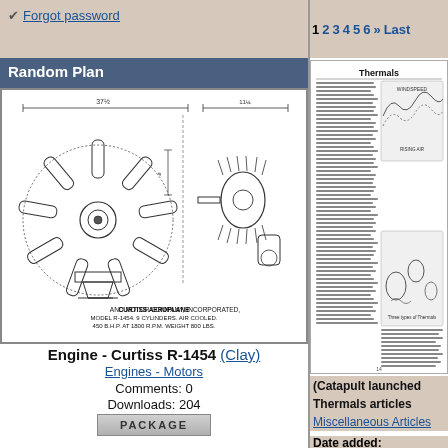Forgot password
1 2 3 4 5 6 » Last
Random Plan
[Figure (engineering-diagram): Blueprint/engineering diagram of Curtiss Aeroplane and Motor Company, Incorporated, Model R-1454, 9 Cylinders, Air Cooled, 450 B.H.P. at 1800 R.P.M., Weight 800 lbs.]
Engine - Curtiss R-1454 (Clay)
Engines - Motors
Comments: 0
Downloads: 204
PACKAGE
[Figure (screenshot): Article page titled 'Thermals' showing text columns and diagrams of thermal air currents for gliders.]
(Catapult launched glider
Thermals articles (stupic
Miscellaneous Articles
Date added: 03.08.2022